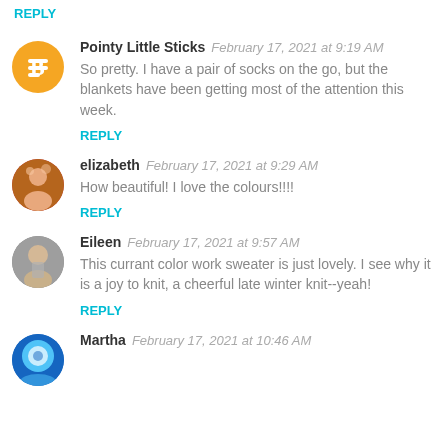REPLY
Pointy Little Sticks  February 17, 2021 at 9:19 AM
So pretty. I have a pair of socks on the go, but the blankets have been getting most of the attention this week.
REPLY
elizabeth  February 17, 2021 at 9:29 AM
How beautiful! I love the colours!!!!
REPLY
Eileen  February 17, 2021 at 9:57 AM
This currant color work sweater is just lovely. I see why it is a joy to knit, a cheerful late winter knit--yeah!
REPLY
Martha  February 17, 2021 at 10:46 AM